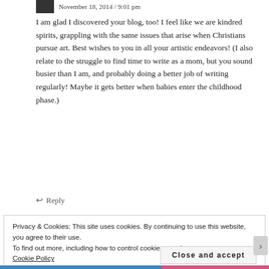November 18, 2014 / 9:01 pm
I am glad I discovered your blog, too! I feel like we are kindred spirits, grappling with the same issues that arise when Christians pursue art. Best wishes to you in all your artistic endeavors! (I also relate to the struggle to find time to write as a mom, but you sound busier than I am, and probably doing a better job of writing regularly! Maybe it gets better when babies enter the childhood phase.)
↩ Reply
Privacy & Cookies: This site uses cookies. By continuing to use this website, you agree to their use.
To find out more, including how to control cookies, see here:
Cookie Policy
Close and accept